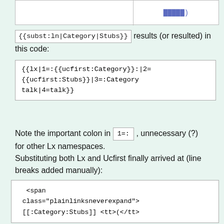█████)
{{subst:ln|Category|Stubs}} results (or resulted) in this code:
{{lx|1=:{{ucfirst:Category}}:|2={{ucfirst:Stubs}}|3=:Category talk|4=talk}}
Note the important colon in 1=: , unnecessary (?) for other Lx namespaces.
Substituting both Lx and Ucfirst finally arrived at (line breaks added manually):
<span class="plainlinksneverexpand">
[[:Category:Stubs]] <tt>(</tt>